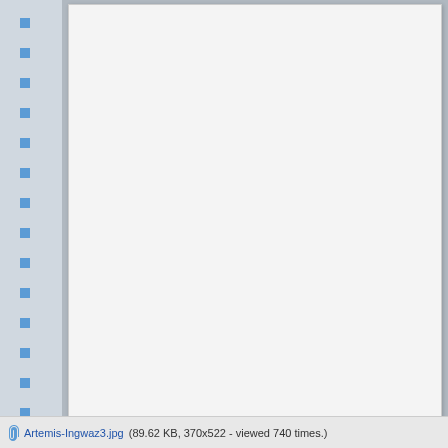[Figure (other): A blank white document page displayed in a document viewer with a blue-ticked ruler on the left side and a gray background.]
Artemis-Ingwaz3.jpg (89.62 KB, 370x522 - viewed 740 times.)